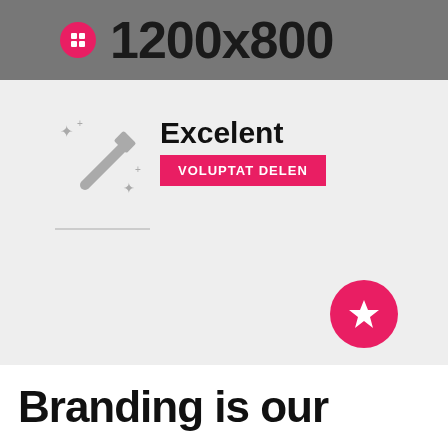[Figure (screenshot): Top gray banner with pink circular logo icon and large dark text '1200x800']
[Figure (illustration): Light gray section with magic wand icon (sparkles), bold text 'Excelent', pink button labeled 'VOLUPTAT DELEN', a horizontal divider line, and a pink circle with white star icon in bottom-right area]
Branding is our